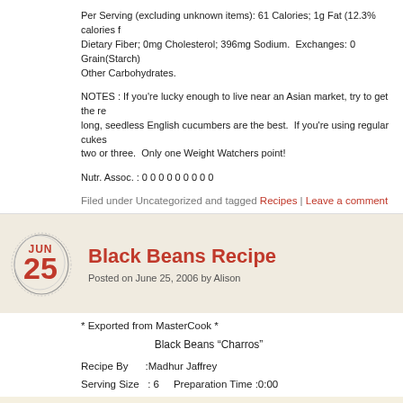Per Serving (excluding unknown items): 61 Calories; 1g Fat (12.3% calories from fat); Dietary Fiber; 0mg Cholesterol; 396mg Sodium.  Exchanges: 0 Grain(Starch); Other Carbohydrates.
NOTES : If you're lucky enough to live near an Asian market, try to get the re... long, seedless English cucumbers are the best.  If you're using regular cukes... two or three.  Only one Weight Watchers point!
Nutr. Assoc. : 0 0 0 0 0 0 0 0 0
Filed under Uncategorized and tagged Recipes | Leave a comment
Black Beans Recipe
Posted on June 25, 2006 by Alison
* Exported from MasterCook *
Black Beans “Charros”
Recipe By     :Madhur Jaffrey
Serving Size  : 6    Preparation Time :0:00